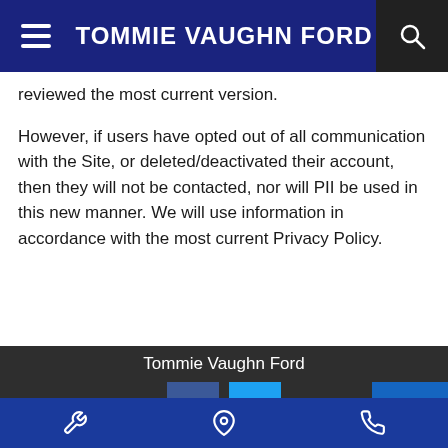TOMMIE VAUGHN FORD
reviewed the most current version.
However, if users have opted out of all communication with the Site, or deleted/deactivated their account, then they will not be contacted, nor will PII be used in this new manner. We will use information in accordance with the most current Privacy Policy.
Tommie Vaughn Ford
[Figure (logo): Facebook and Twitter social media icon buttons]
[Figure (infographic): Back to top arrow button (blue)]
Bottom navigation bar with wrench (service), location pin, and phone icons